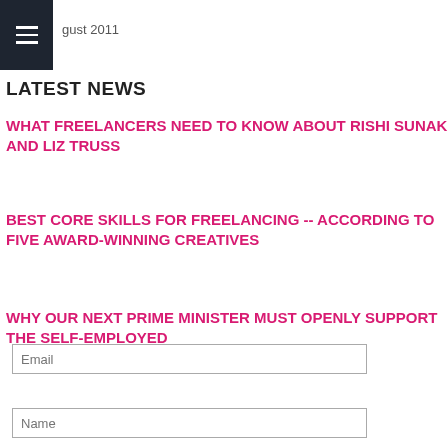August 2011
LATEST NEWS
WHAT FREELANCERS NEED TO KNOW ABOUT RISHI SUNAK AND LIZ TRUSS
BEST CORE SKILLS FOR FREELANCING -- ACCORDING TO FIVE AWARD-WINNING CREATIVES
WHY OUR NEXT PRIME MINISTER MUST OPENLY SUPPORT THE SELF-EMPLOYED
Email
Name